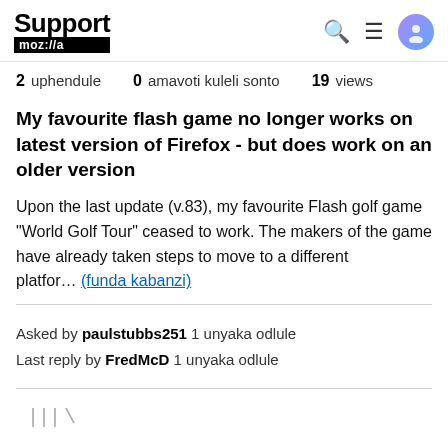Support mozilla
2 uphendule   0 amavoti kuleli sonto   19 views
My favourite flash game no longer works on latest version of Firefox - but does work on an older version
Upon the last update (v.83), my favourite Flash golf game "World Golf Tour" ceased to work. The makers of the game have already taken steps to move to a different platfor... (funda kabanzi)
Asked by paulstubbs251 1 unyaka odlule
Last reply by FredMcD 1 unyaka odlule